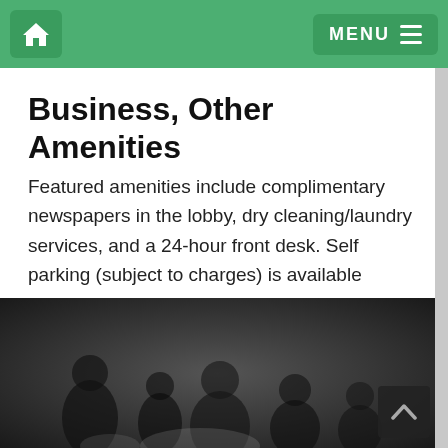MENU
Business, Other Amenities
Featured amenities include complimentary newspapers in the lobby, dry cleaning/laundry services, and a 24-hour front desk. Self parking (subject to charges) is available onsite.
[Figure (photo): Dark/grayscale photo showing silhouetted figures, likely a hotel lobby or common area scene]